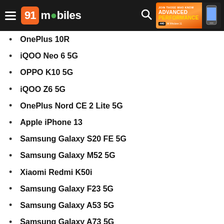91mobiles
OnePlus 10R
iQOO Neo 6 5G
OPPO K10 5G
iQOO Z6 5G
OnePlus Nord CE 2 Lite 5G
Apple iPhone 13
Samsung Galaxy S20 FE 5G
Samsung Galaxy M52 5G
Xiaomi Redmi K50i
Samsung Galaxy F23 5G
Samsung Galaxy A53 5G
Samsung Galaxy A73 5G
Xiaomi Redmi 10
Samsung Galaxy A33 5G
Samsung Galaxy M13